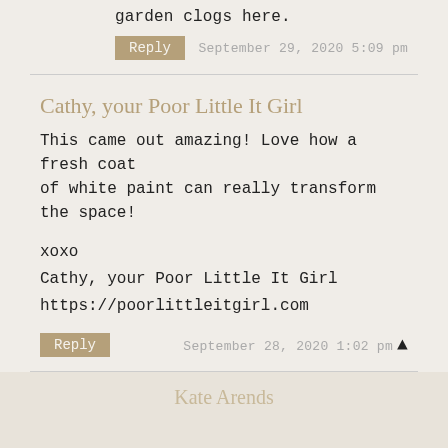garden clogs here.
Reply   September 29, 2020 5:09 pm
Cathy, your Poor Little It Girl
This came out amazing! Love how a fresh coat of white paint can really transform the space!

xoxo
Cathy, your Poor Little It Girl
https://poorlittleitgirl.com
Reply   September 28, 2020 1:02 pm
Kate Arends